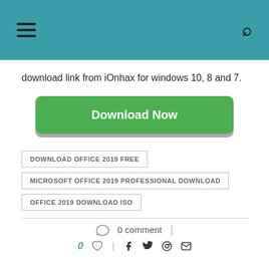download link from iOnhax for windows 10, 8 and 7.
[Figure (other): Green Download Now button]
DOWNLOAD OFFICE 2019 FREE
MICROSOFT OFFICE 2019 PROFESSIONAL DOWNLOAD
OFFICE 2019 DOWNLOAD ISO
0 comment
0